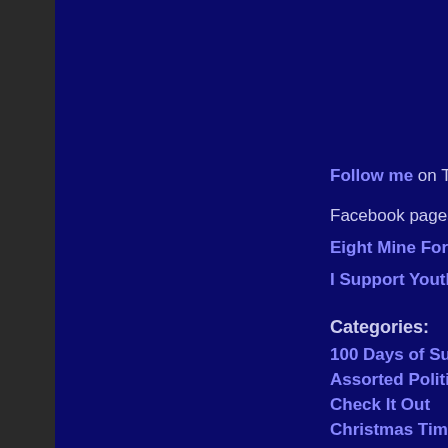Follow me on Twitter!
Facebook pages:
Eight Mine Fortress (new!)
I Support Youth Rights
Categories:
100 Days of Summer
Assorted Politics
Check It Out
Christmas Time!
Dead Tree Sandwiches
Decrees!
Estrogen
Foodz
Going Places
Here's To You!